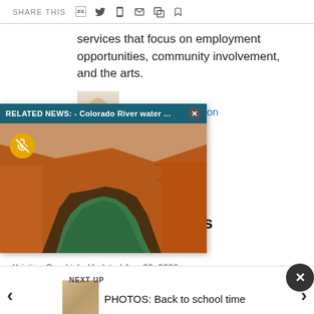SHARE THIS
services that focus on employment opportunities, community involvement, and the arts.
Pamela Thompson
[Figure (screenshot): Related news popup overlay showing Colorado River water with canyon image and mute button]
't stop Shooters
Kristine Goodrich  Updated Aug 29, 2022
NEXT UP
[Figure (photo): Thumbnail image for Back to school time photos]
PHOTOS: Back to school time